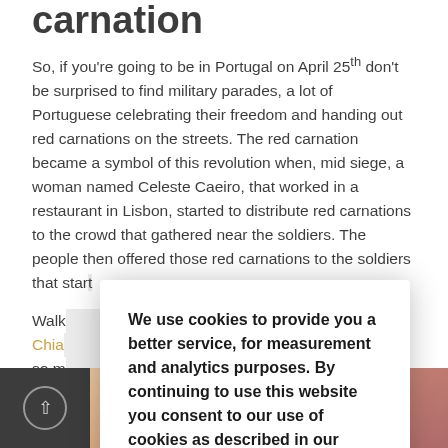carnation
So, if you're going to be in Portugal on April 25th don't be surprised to find military parades, a lot of Portuguese celebrating their freedom and handing out red carnations on the streets. The red carnation became a symbol of this revolution when, mid siege, a woman named Celeste Caeiro, that worked in a restaurant in Lisbon, started to distribute red carnations to the crowd that gathered near the soldiers. The people then offered those red carnations to the soldiers that start[ed putting them inside the barrel of their machine t]...
Walk... Chia... g by so m...
We use cookies to provide you a better service, for measurement and analytics purposes. By continuing to use this website you consent to our use of cookies as described in our Privacy Policy.
[Figure (other): Accept cookie button and bottom images of building]
[Figure (photo): Left dark image with back arrow button and right image of a building with red roof at sunset]